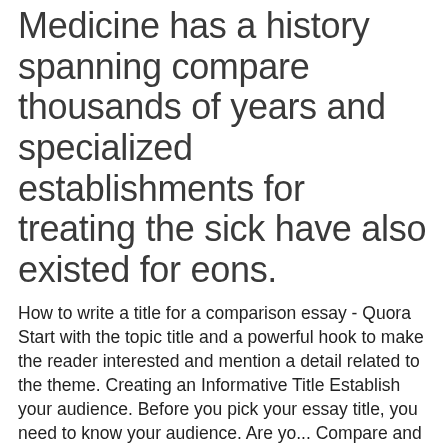Medicine has a history spanning compare thousands of years and specialized establishments for treating the sick have also existed for eons.
How to write a title for a comparison essay - Quora Start with the topic title and a powerful hook to make the reader interested and mention a detail related to the theme. Creating an Informative Title Establish your audience. Before you pick your essay title, you need to know your audience. Are yo... Compare and Contrast Essay Examples In addition to this, it is important to use good transition between paragraphs in a compare and contrast essay. Transitions make your essay flow from one point to the next. Another type of format that you can use to write your compare and contrast essay is to use cue words.